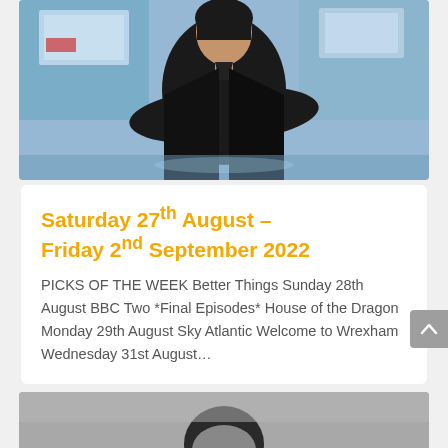[Figure (photo): A person in a dark blazer/jacket with arms spread, in what appears to be a blue-lit workspace with monitors in the background]
Saturday 27th August – Friday 2nd September 2022
PICKS OF THE WEEK Better Things Sunday 28th August BBC Two *Final Episodes* House of the Dragon Monday 29th August Sky Atlantic Welcome to Wrexham Wednesday 31st August…
[Figure (photo): Black and white photo of a person, partially visible at bottom of page]